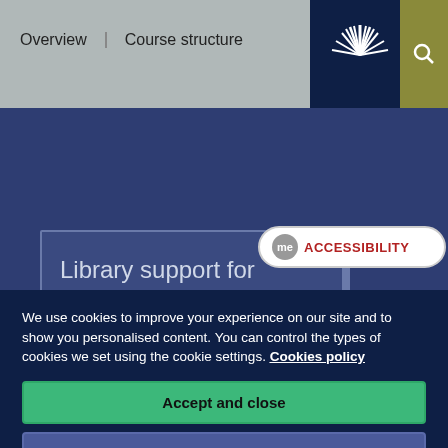Overview | Course structure
[Figure (logo): University starburst logo in white on dark navy background]
Library support for Journalism
mediaHUB 360
[Figure (other): Accessibility button with 'me' circle icon and red ACCESSIBILITY text]
We use cookies to improve your experience on our site and to show you personalised content. You can control the types of cookies we set using the cookie settings. Cookies policy
Accept and close
Cookie settings